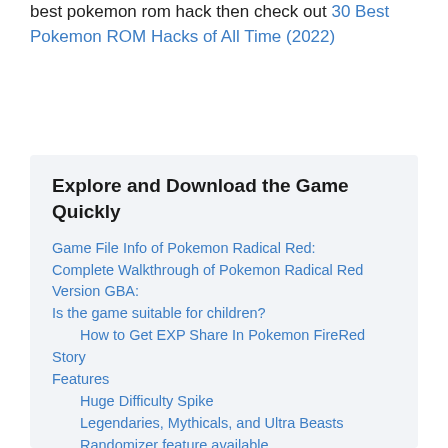best pokemon rom hack then check out 30 Best Pokemon ROM Hacks of All Time (2022)
Explore and Download the Game Quickly
Game File Info of Pokemon Radical Red:
Complete Walkthrough of Pokemon Radical Red Version GBA:
Is the game suitable for children?
How to Get EXP Share In Pokemon FireRed
Story
Features
Huge Difficulty Spike
Legendaries, Mythicals, and Ultra Beasts
Randomizer feature available
New Pokemon Abilities
Colored IV